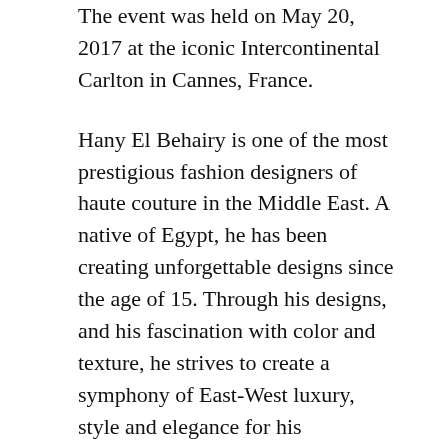The event was held on May 20, 2017 at the iconic Intercontinental Carlton in Cannes, France.
Hany El Behairy is one of the most prestigious fashion designers of haute couture in the Middle East. A native of Egypt, he has been creating unforgettable designs since the age of 15. Through his designs, and his fascination with color and texture, he strives to create a symphony of East-West luxury, style and elegance for his discerning clientele. Hany El Behairy's exquisite designs are known for their elegance, attention to detail and the highest quality fabrics and embellishments. His feminine and luxurious creations include cocktail dresses, evening gowns and